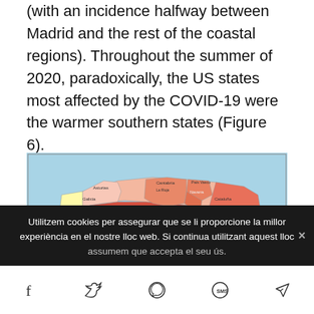(with an incidence halfway between Madrid and the rest of the coastal regions). Throughout the summer of 2020, paradoxically, the US states most affected by the COVID-19 were the warmer southern states (Figure 6).
[Figure (map): Choropleth map of Spain showing COVID-19 deaths per 100,000 population as of 4/6/2020, with regions colored by mortality rate. Legend shows: 7.0-18.0 (light pink), 18.1-30.0 (salmon), 35.1-48.0 (orange-red), 49.1-80.0 (red), 80.1-145.0 (dark red). Madrid and surroundings shown in darkest red.]
Utilitzem cookies per assegurar que se li proporcione la millor experiència en el nostre lloc web. Si continua utilitzant aquest lloc assumem que accepta el seu ús.